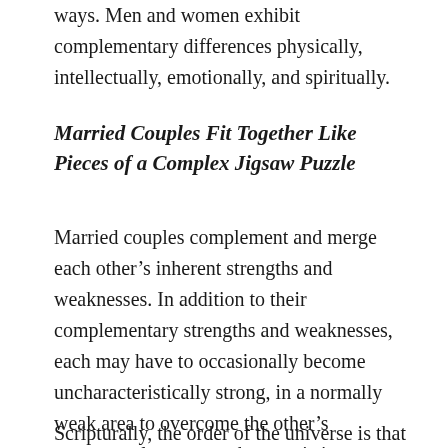ways. Men and women exhibit complementary differences physically, intellectually, emotionally, and spiritually.
Married Couples Fit Together Like Pieces of a Complex Jigsaw Puzzle
Married couples complement and merge each other's inherent strengths and weaknesses. In addition to their complementary strengths and weaknesses, each may have to occasionally become uncharacteristically strong, in a normally weak area to overcome the other's temporary lapse or uncharacteristic weakness in another area. Habits also complement and change with time.
Scripturally, the order of the universe is that the Lord is